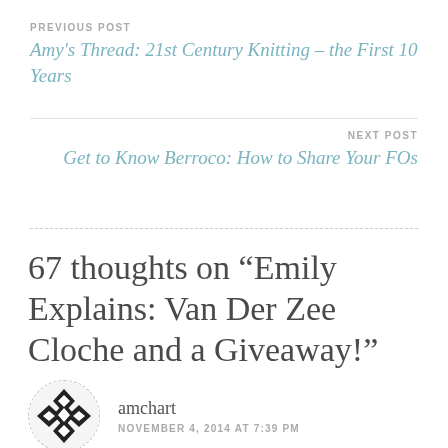PREVIOUS POST
Amy’s Thread: 21st Century Knitting – the First 10 Years
NEXT POST
Get to Know Berroco: How to Share Your FOs
67 thoughts on “Emily Explains: Van Der Zee Cloche and a Giveaway!”
amchart
NOVEMBER 4, 2014 AT 7:39 PM